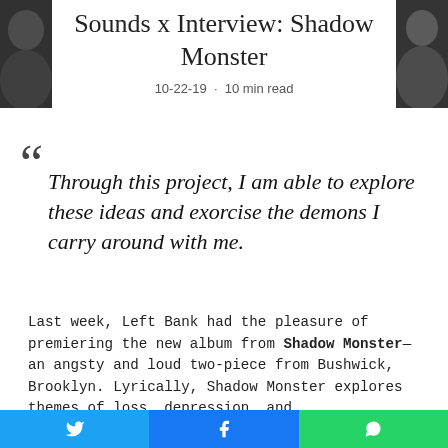[Figure (photo): Photo banner with people in dark background on left and right sides, white center area for title]
Sounds x Interview: Shadow Monster
10-22-19 · 10 min read
Through this project, I am able to explore these ideas and exorcise the demons I carry around with me.
Last week, Left Bank had the pleasure of premiering the new album from Shadow Monster—an angsty and loud two-piece from Bushwick, Brooklyn. Lyrically, Shadow Monster explores themes of loss, depression, and